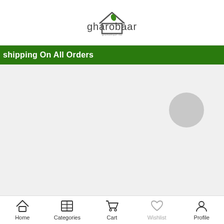[Figure (logo): gharobaar logo with house icon and green leaf, tagline below]
Shipping On All Orders
[Figure (other): Gray loading spinner circle on light gray background]
[Figure (infographic): Bottom navigation bar with Home, Categories, Cart, Wishlist, Profile icons]